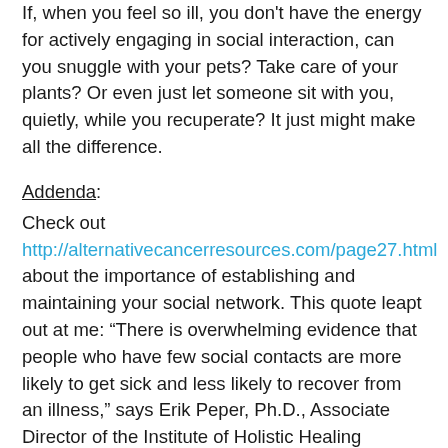If, when you feel so ill, you don't have the energy for actively engaging in social interaction, can you snuggle with your pets? Take care of your plants? Or even just let someone sit with you, quietly, while you recuperate? It just might make all the difference.
Addenda:
Check out http://alternativecancerresources.com/page27.html about the importance of establishing and maintaining your social network. This quote leapt out at me: “There is overwhelming evidence that people who have few social contacts are more likely to get sick and less likely to recover from an illness,” says Erik Peper, Ph.D., Associate Director of the Institute of Holistic Healing Studies at San Francisco State University. People with the fewest social ties are two to three times more likely